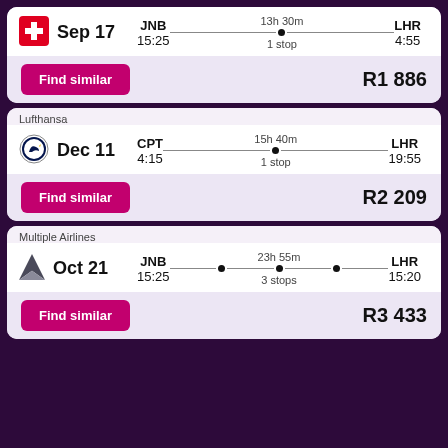[Figure (other): Flight card 1: Swiss Airlines, Sep 17, JNB 15:25 to LHR 4:55, 13h 30m, 1 stop, R1 886]
Find similar
R1 886
Lufthansa
[Figure (other): Flight card 2: Lufthansa, Dec 11, CPT 4:15 to LHR 19:55, 15h 40m, 1 stop, R2 209]
Find similar
R2 209
Multiple Airlines
[Figure (other): Flight card 3: Multiple Airlines, Oct 21, JNB 15:25 to LHR 15:20, 23h 55m, 3 stops, R3 433]
Find similar
R3 433